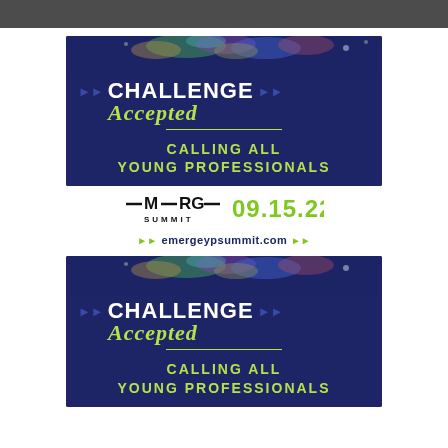[Figure (photo): Partial photo strip at top of page, dark/grey]
[Figure (infographic): EMERGE Summit banner: dark navy blue background with colorful confetti splash at top. Text: CHALLENGE Accepted - CALLING ALL YOUNG PROFESSIONALS]
=MERG= SUMMIT  09.15.22
▶▶ emergeypsummit.com ▶▶
[Figure (infographic): Second EMERGE Summit banner (partial): same navy design with CHALLENGE Accepted and CALLING ALL YOUNG PROFESSIONALS]